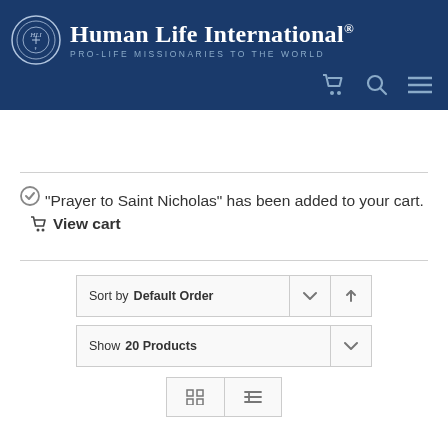Human Life International® PRO-LIFE MISSIONARIES TO THE WORLD
"Prayer to Saint Nicholas" has been added to your cart.  View cart
Sort by Default Order
Show 20 Products